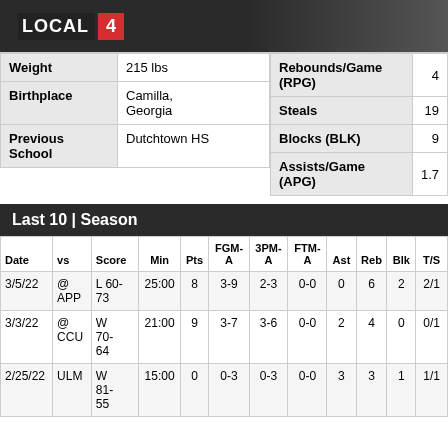LOCAL 4
|  |  |
| --- | --- |
| Weight | 215 lbs |
| Birthplace | Camilla, Georgia |
| Previous School | Dutchtown HS |
|  |  |
| --- | --- |
| Rebounds/Game (RPG) | 4 |
| Steals | 19 |
| Blocks (BLK) | 9 |
| Assists/Game (APG) | 1.7 |
Last 10 | Season
| Date | vs | Score | Min | Pts | FGM-A | 3PM-A | FTM-A | Ast | Reb | Blk | T/S |
| --- | --- | --- | --- | --- | --- | --- | --- | --- | --- | --- | --- |
| 3/5/22 | @ APP | L 60-73 | 25:00 | 8 | 3-9 | 2-3 | 0-0 | 0 | 6 | 2 | 2/1 |
| 3/3/22 | @ CCU | W 70-64 | 21:00 | 9 | 3-7 | 3-6 | 0-0 | 2 | 4 | 0 | 0/1 |
| 2/25/22 | ULM | W 81-55 | 15:00 | 0 | 0-3 | 0-3 | 0-0 | 3 | 3 | 1 | 1/1 |